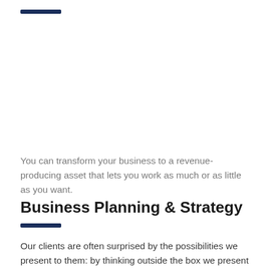[Figure (other): Dark navy blue horizontal bar/divider line at top of page]
You can transform your business to a revenue-producing asset that lets you work as much or as little as you want.
Business Planning & Strategy
[Figure (other): Dark navy blue horizontal bar/divider line below section header]
Our clients are often surprised by the possibilities we present to them: by thinking outside the box we present exciting new